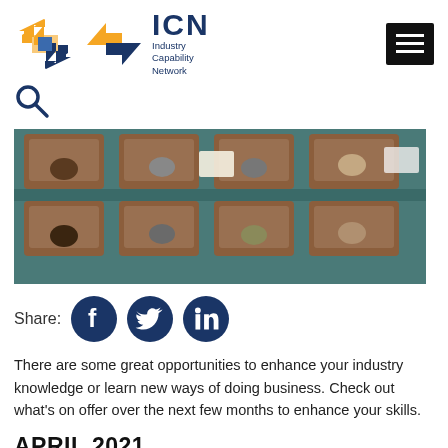[Figure (logo): ICN Industry Capability Network logo with orange/blue arrow icon and hamburger menu button]
[Figure (illustration): Search magnifying glass icon]
[Figure (photo): Aerial view of people sitting in lecture hall seats, looking down at documents]
Share:
[Figure (infographic): Social share icons: Facebook, Twitter, LinkedIn circular dark blue buttons]
There are some great opportunities to enhance your industry knowledge or learn new ways of doing business. Check out what's on offer over the next few months to enhance your skills.
APRIL 2021